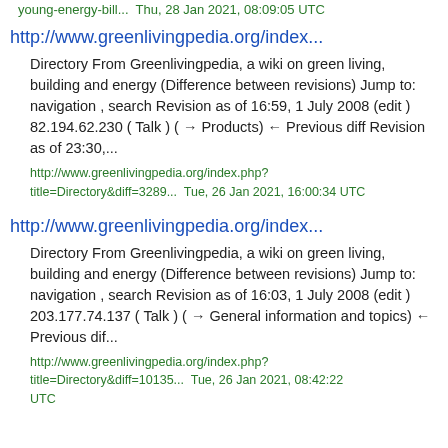young-energy-bill...  Thu, 28 Jan 2021, 08:09:05 UTC
http://www.greenlivingpedia.org/index...
Directory From Greenlivingpedia, a wiki on green living, building and energy (Difference between revisions) Jump to: navigation , search Revision as of 16:59, 1 July 2008 (edit ) 82.194.62.230 ( Talk ) ( → Products) ← Previous diff Revision as of 23:30,...
http://www.greenlivingpedia.org/index.php?title=Directory&diff=3289...  Tue, 26 Jan 2021, 16:00:34 UTC
http://www.greenlivingpedia.org/index...
Directory From Greenlivingpedia, a wiki on green living, building and energy (Difference between revisions) Jump to: navigation , search Revision as of 16:03, 1 July 2008 (edit ) 203.177.74.137 ( Talk ) ( → General information and topics) ← Previous dif...
http://www.greenlivingpedia.org/index.php?title=Directory&diff=10135...  Tue, 26 Jan 2021, 08:42:22 UTC